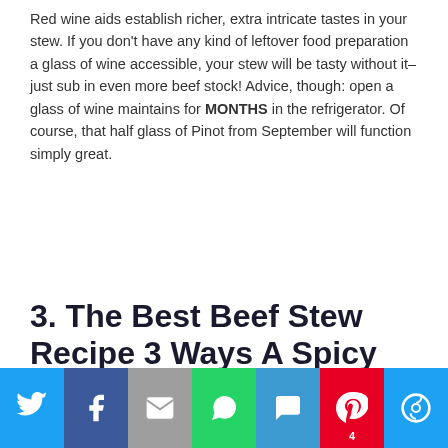Red wine aids establish richer, extra intricate tastes in your stew. If you don't have any kind of leftover food preparation a glass of wine accessible, your stew will be tasty without it– just sub in even more beef stock! Advice, though: open a glass of wine maintains for MONTHS in the refrigerator. Of course, that half glass of Pinot from September will function simply great.
3. The Best Beef Stew Recipe 3 Ways A Spicy Perspective
[Figure (photo): A close-up photo of a purple/maroon pot containing beef stew with a wooden spoon, with a purple cloth in the background.]